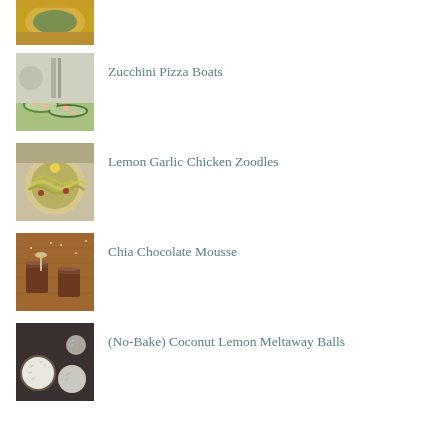[Figure (photo): Partial image of a quiche dish at top of page]
[Figure (photo): Zucchini pizza boats with toppings]
Zucchini Pizza Boats
[Figure (photo): Lemon garlic chicken zoodles in a bowl]
Lemon Garlic Chicken Zoodles
[Figure (photo): Chia chocolate mousse in small glass jars]
Chia Chocolate Mousse
[Figure (photo): No-bake coconut lemon meltaway balls dusted with coconut]
(No-Bake) Coconut Lemon Meltaway Balls